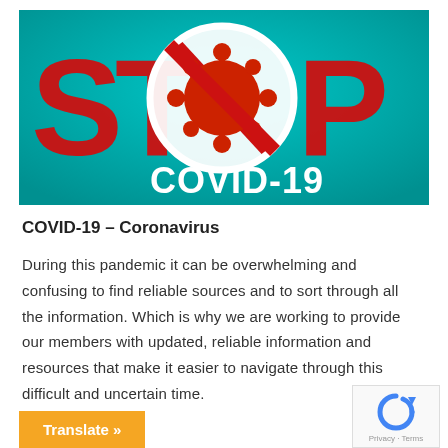[Figure (illustration): STOP COVID-19 banner image with large red STOP letters on teal/turquoise background, a coronavirus particle in a crossed-out circle in the center, and bold white COVID-19 text at the bottom right]
COVID-19 – Coronavirus
During this pandemic it can be overwhelming and confusing to find reliable sources and to sort through all the information. Which is why we are working to provide our members with updated, reliable information and resources that make it easier to navigate through this difficult and uncertain time.
Translate »